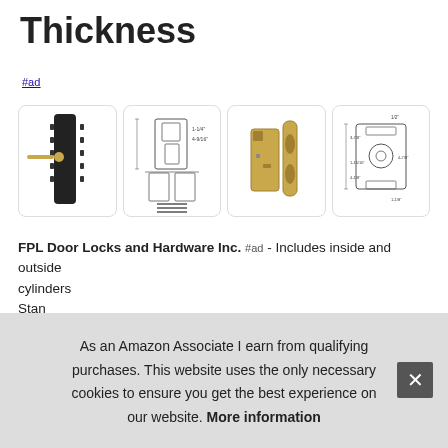Thickness
#ad
[Figure (photo): Four product images of door locks and hardware: (1) black mortise lock body with gold lever, (2) engineering/technical drawing of lock dimensions, (3) gold/brass mortise lock with strike plate, (4) engineering/technical drawing of lock assembly with dimensions.]
FPL Door Locks and Hardware Inc. #ad - Includes inside and outside... cylinders... Standard...
As an Amazon Associate I earn from qualifying purchases. This website uses the only necessary cookies to ensure you get the best experience on our website. More information